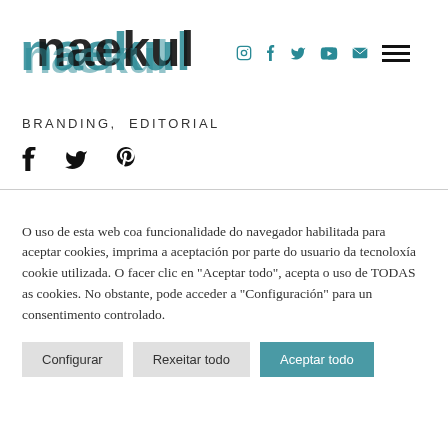[Figure (logo): Naekul website logo with overlapping letters in black and teal, with social media icons (Instagram, Facebook, Twitter, YouTube, email) and hamburger menu]
BRANDING,  EDITORIAL
[Figure (other): Share icons: Facebook, Twitter, Pinterest]
O uso de esta web coa funcionalidade do navegador habilitada para aceptar cookies, imprima a aceptación por parte do usuario da tecnoloxía cookie utilizada. O facer clic en "Aceptar todo", acepta o uso de TODAS as cookies. No obstante, pode acceder a "Configuración" para un consentimento controlado.
Configurar  Rexeitar todo  Aceptar todo